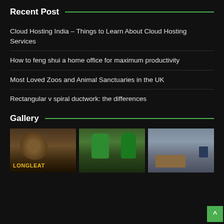Recent Post
Cloud Hosting India – Things to Learn About Cloud Hosting Services
How to feng shui a home office for maximum productivity
Most Loved Zoos and Animal Sanctuaries in the UK
Rectangular v spiral ductwork: the differences
Gallery
[Figure (photo): Three photos in a gallery row: first shows animal sculptures with LONGLEAT text, second shows two people in green hoodies outdoors, third shows an office desk setup with a computer monitor.]